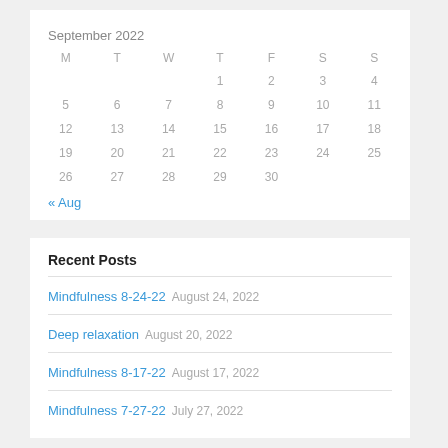September 2022
| M | T | W | T | F | S | S |
| --- | --- | --- | --- | --- | --- | --- |
|  |  |  | 1 | 2 | 3 | 4 |
| 5 | 6 | 7 | 8 | 9 | 10 | 11 |
| 12 | 13 | 14 | 15 | 16 | 17 | 18 |
| 19 | 20 | 21 | 22 | 23 | 24 | 25 |
| 26 | 27 | 28 | 29 | 30 |  |  |
« Aug
Recent Posts
Mindfulness 8-24-22 August 24, 2022
Deep relaxation August 20, 2022
Mindfulness 8-17-22 August 17, 2022
Mindfulness 7-27-22 July 27, 2022